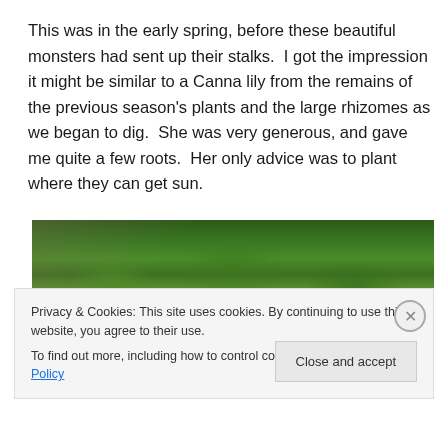This was in the early spring, before these beautiful monsters had sent up their stalks.  I got the impression it might be similar to a Canna lily from the remains of the previous season's plants and the large rhizomes as we began to dig.  She was very generous, and gave me quite a few roots.  Her only advice was to plant where they can get sun.
[Figure (photo): Photograph of lush green garden foliage showing various plants with large leaves, taken in early spring.]
Privacy & Cookies: This site uses cookies. By continuing to use this website, you agree to their use.
To find out more, including how to control cookies, see here: Cookie Policy
Close and accept